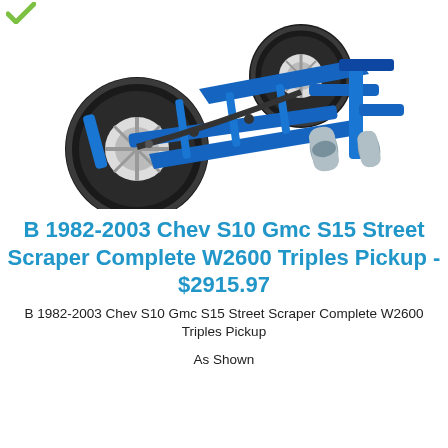[Figure (photo): Blue automotive rear suspension/axle assembly with two large tires, shown at an angle on white background - Street Scraper Complete W2600 Triples Pickup kit]
B 1982-2003 Chev S10 Gmc S15 Street Scraper Complete W2600 Triples Pickup - $2915.97
B 1982-2003 Chev S10 Gmc S15 Street Scraper Complete W2600 Triples Pickup
As Shown